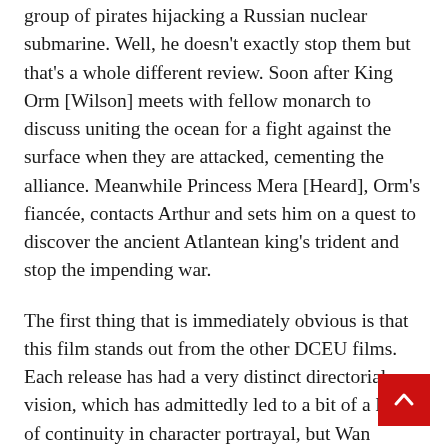group of pirates hijacking a Russian nuclear submarine. Well, he doesn't exactly stop them but that's a whole different review. Soon after King Orm [Wilson] meets with fellow monarch to discuss uniting the ocean for a fight against the surface when they are attacked, cementing the alliance. Meanwhile Princess Mera [Heard], Orm's fiancée, contacts Arthur and sets him on a quest to discover the ancient Atlantean king's trident and stop the impending war.
The first thing that is immediately obvious is that this film stands out from the other DCEU films. Each release has had a very distinct directorial vision, which has admittedly led to a bit of a lack of continuity in character portrayal, but Wan unabashedly leaning into the fantasy elements is one of this movie's strongest spokes. Much like Marvel's Thor or Guardians Of The Galaxy movies, the unique